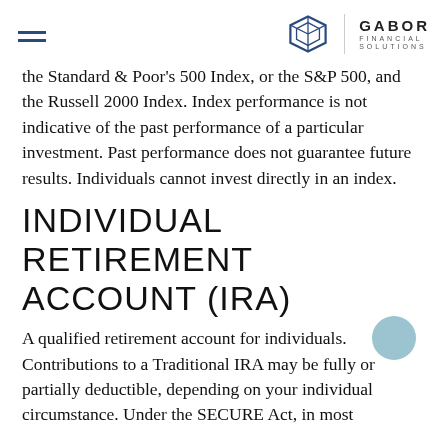GABOR FINANCIAL SOLUTIONS
the Standard & Poor's 500 Index, or the S&P 500, and the Russell 2000 Index. Index performance is not indicative of the past performance of a particular investment. Past performance does not guarantee future results. Individuals cannot invest directly in an index.
INDIVIDUAL RETIREMENT ACCOUNT (IRA)
A qualified retirement account for individuals. Contributions to a Traditional IRA may be fully or partially deductible, depending on your individual circumstance. Under the SECURE Act, in most